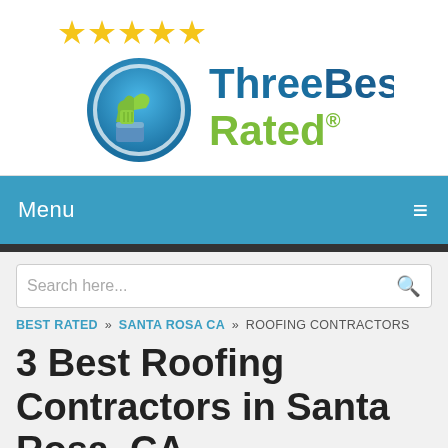[Figure (logo): ThreeBestRated logo with five gold stars, a blue circle with green thumbs-up icon, and 'ThreeBest Rated' text]
Menu ≡
Search here...
BEST RATED » SANTA ROSA CA » ROOFING CONTRACTORS
3 Best Roofing Contractors in Santa Rosa, CA
Expert recommended Top 3 Roofing Contractors in Santa Rosa, California. All of our roofing contractors actually face a rigorous 50-Point Inspection, which